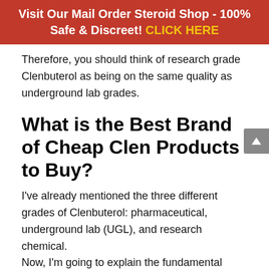Visit Our Mail Order Steroid Shop - 100% Safe & Discreet! CLICK HERE
Therefore, you should think of research grade Clenbuterol as being on the same quality as underground lab grades.
What is the Best Brand of Cheap Clen Products to Buy?
I've already mentioned the three different grades of Clenbuterol: pharmaceutical, underground lab (UGL), and research chemical.
Now, I'm going to explain the fundamental differences between them.